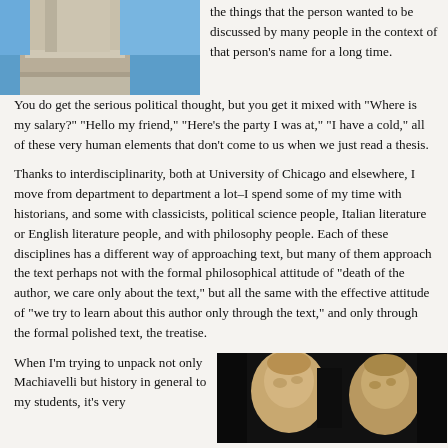[Figure (photo): Photo of a classical stone column or pillar with blue sky behind it, cropped at top-left of page.]
the things that the person wanted to be discussed by many people in the context of that person's name for a long time. You do get the serious political thought, but you get it mixed with "Where is my salary?" "Hello my friend," "Here's the party I was at," "I have a cold," all of these very human elements that don't come to us when we just read a thesis.
Thanks to interdisciplinarity, both at University of Chicago and elsewhere, I move from department to department a lot–I spend some of my time with historians, and some with classicists, political science people, Italian literature or English literature people, and with philosophy people. Each of these disciplines has a different way of approaching text, but many of them approach the text perhaps not with the formal philosophical attitude of "death of the author, we care only about the text," but all the same with the effective attitude of "we try to learn about this author only through the text," and only through the formal polished text, the treatise.
When I'm trying to unpack not only Machiavelli but history in general to my students, it's very
[Figure (photo): Dark background photo showing two sculpted or painted busts of classical figures, appearing to face each other in profile.]